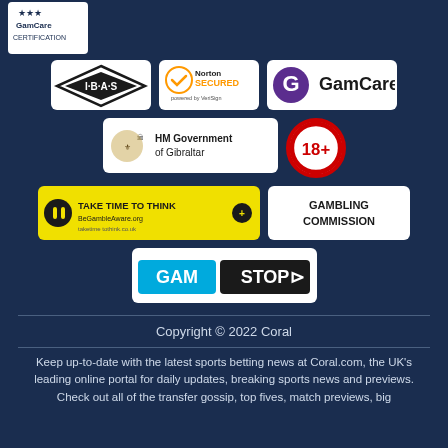[Figure (logo): GamCare Certification logo top-left]
[Figure (logo): IBAS logo badge]
[Figure (logo): Norton Secured powered by VeriSign logo]
[Figure (logo): GamCare logo with G symbol]
[Figure (logo): HM Government of Gibraltar logo]
[Figure (logo): 18+ age restriction badge]
[Figure (logo): Take Time To Think BeGambleAware yellow banner]
[Figure (logo): Gambling Commission logo]
[Figure (logo): GamStop logo]
Copyright © 2022 Coral
Keep up-to-date with the latest sports betting news at Coral.com, the UK's leading online portal for daily updates, breaking sports news and previews. Check out all of the transfer gossip, top fives, match previews, big